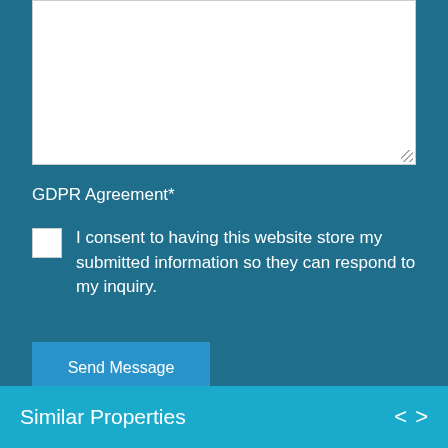GDPR Agreement*
I consent to having this website store my submitted information so they can respond to my inquiry.
Send Message
Similar Properties